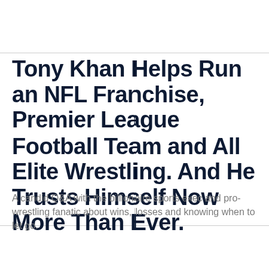Tony Khan Helps Run an NFL Franchise, Premier League Football Team and All Elite Wrestling. And He Trusts Himself Now More Than Ever.
A candid Q&A with the billionaire sports exec and pro-wrestling fanatic about wins, losses and knowing when to let go.